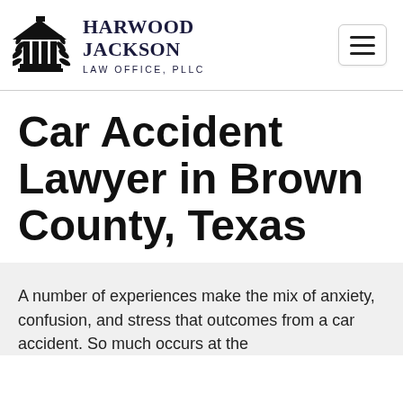HARWOOD JACKSON LAW OFFICE, PLLC
Car Accident Lawyer in Brown County, Texas
A number of experiences make the mix of anxiety, confusion, and stress that outcomes from a car accident. So much occurs at the